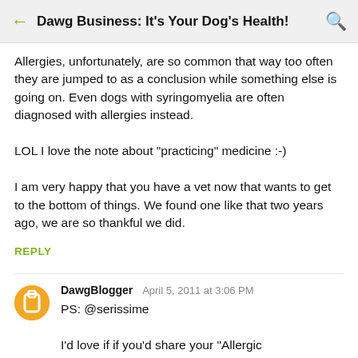Dawg Business: It's Your Dog's Health!
Allergies, unfortunately, are so common that way too often they are jumped to as a conclusion while something else is going on. Even dogs with syringomyelia are often diagnosed with allergies instead.

LOL I love the note about "practicing" medicine :-)

I am very happy that you have a vet now that wants to get to the bottom of things. We found one like that two years ago, we are so thankful we did.
REPLY
DawgBlogger  April 5, 2011 at 3:06 PM
PS: @serissime

I'd love if if you'd share your "Allergic